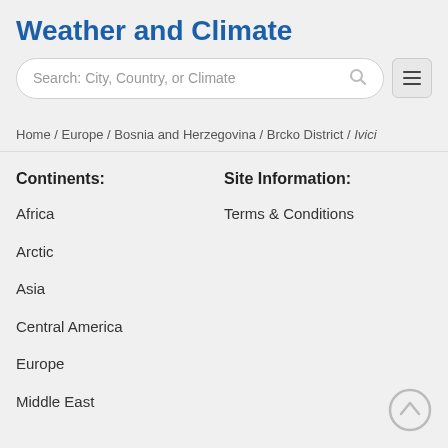Weather and Climate
Search: City, Country, or Climate
Home / Europe / Bosnia and Herzegovina / Brcko District / Ivici
Continents:
Site Information:
Africa
Terms & Conditions
Arctic
Asia
Central America
Europe
Middle East